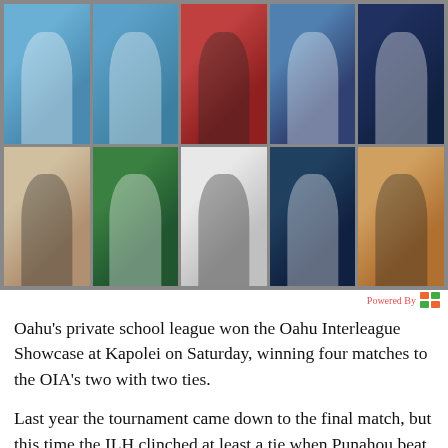[Figure (photo): A collage of 10 sports athlete photos arranged in a 5x2 grid, showing various high school sports including swimming, water polo, basketball, baseball, football, and volleyball.]
Powered By
Oahu's private school league won the Oahu Interleague Showcase at Kapolei on Saturday, winning four matches to the OIA's two with two ties.
Last year the tournament came down to the final match, but this time the ILH clinched at least a tie when Punahou beat Kalani 2-1 and took the edge in the next-to-last match when Iolani beat Kalani 2-1.